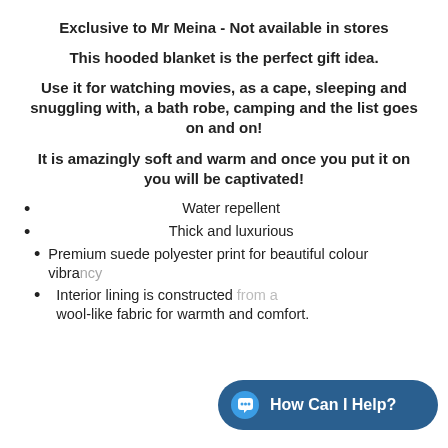Exclusive to Mr Meina - Not available in stores
This hooded blanket is the perfect gift idea.
Use it for watching movies, as a cape, sleeping and snuggling with, a bath robe, camping and the list goes on and on!
It is amazingly soft and warm and once you put it on you will be captivated!
Water repellent
Thick and luxurious
Premium suede polyester print for beautiful colour vibra…
Interior lining is constructed… wool-like fabric for warmth and comfort.